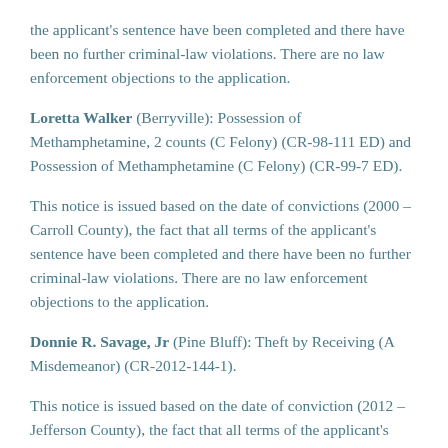the applicant's sentence have been completed and there have been no further criminal-law violations. There are no law enforcement objections to the application.
Loretta Walker (Berryville): Possession of Methamphetamine, 2 counts (C Felony) (CR-98-111 ED) and Possession of Methamphetamine (C Felony) (CR-99-7 ED).
This notice is issued based on the date of convictions (2000 – Carroll County), the fact that all terms of the applicant's sentence have been completed and there have been no further criminal-law violations. There are no law enforcement objections to the application.
Donnie R. Savage, Jr (Pine Bluff): Theft by Receiving (A Misdemeanor) (CR-2012-144-1).
This notice is issued based on the date of conviction (2012 – Jefferson County), the fact that all terms of the applicant's